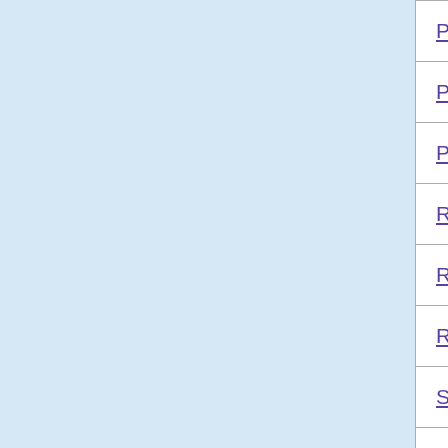| Language | Contributor |
| --- | --- |
| Persian | DinoTechno |
| Polish |  |
| Portuguese Brazil | PapaiMark |
| Romanian | filecroco |
| Russian | Dmitry Yerokhi |
| Russian | A.Larionov |
| Simplified Chinese | DickMoore |
| Slovak | František Fico |
| Slovenian | sooftware |
| Spanish |  |
| Swedish | Mikael Hiort af |